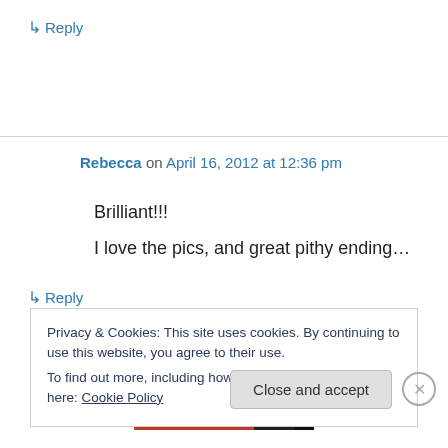↳ Reply
Rebecca on April 16, 2012 at 12:36 pm
Brilliant!!!
I love the pics, and great pithy ending…
↳ Reply
Privacy & Cookies: This site uses cookies. By continuing to use this website, you agree to their use.
To find out more, including how to control cookies, see here: Cookie Policy
Close and accept